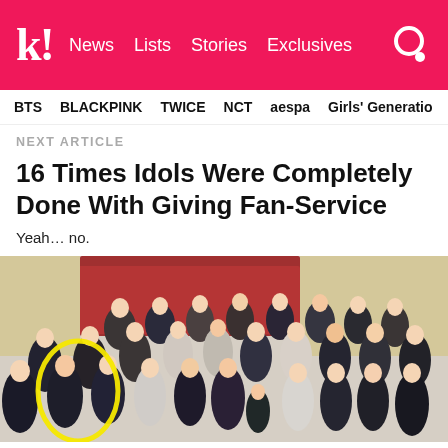k! News  Lists  Stories  Exclusives
BTS  BLACKPINK  TWICE  NCT  aespa  Girls' Generation
NEXT ARTICLE
16 Times Idols Were Completely Done With Giving Fan-Service
Yeah… no.
[Figure (photo): Large group photo of people in formal attire making finger heart gestures; a yellow oval highlights two young women on the left side of the group.]